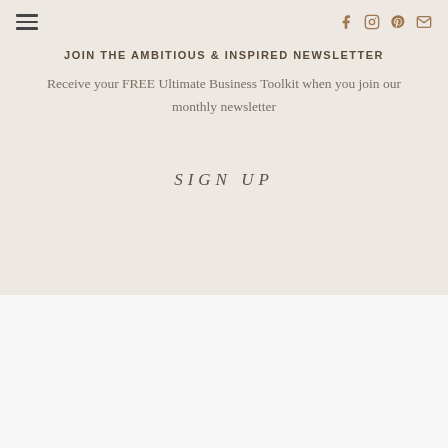Navigation bar with hamburger menu and social icons (Facebook, Instagram, Pinterest, Email)
JOIN THE AMBITIOUS & INSPIRED NEWSLETTER
Receive your FREE Ultimate Business Toolkit when you join our monthly newsletter
SIGN UP
[Figure (photo): Product photo showing a dark tube/cream product beside green leafy plant stems on a light background]